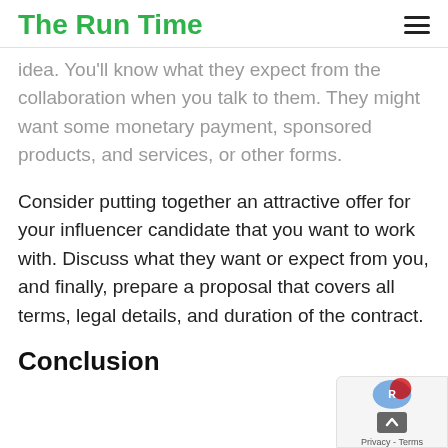The Run Time
idea. You'll know what they expect from the collaboration when you talk to them. They might want some monetary payment, sponsored products, and services, or other forms.
Consider putting together an attractive offer for your influencer candidate that you want to work with. Discuss what they want or expect from you, and finally, prepare a proposal that covers all terms, legal details, and duration of the contract.
Conclusion